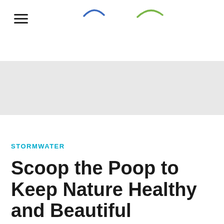STORMWATER — navigation header with hamburger menu and logos
[Figure (other): Gray banner image placeholder area]
STORMWATER
Scoop the Poop to Keep Nature Healthy and Beautiful